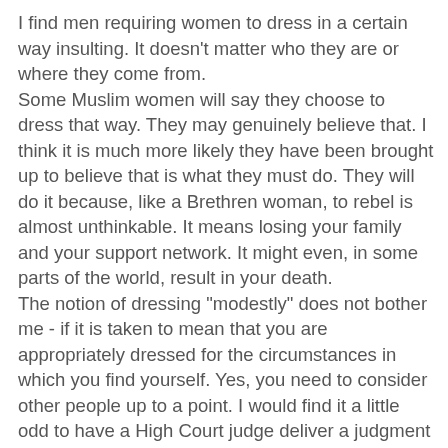I find men requiring women to dress in a certain way insulting. It doesn't matter who they are or where they come from.
Some Muslim women will say they choose to dress that way. They may genuinely believe that. I think it is much more likely they have been brought up to believe that is what they must do. They will do it because, like a Brethren woman, to rebel is almost unthinkable. It means losing your family and your support network. It might even, in some parts of the world, result in your death.
The notion of dressing "modestly" does not bother me - if it is taken to mean that you are appropriately dressed for the circumstances in which you find yourself. Yes, you need to consider other people up to a point. I would find it a little odd to have a High Court judge deliver a judgment in a bikini. It would be disrespectful of the office they hold. Going to your child's wedding in your dirty old gardening clothes